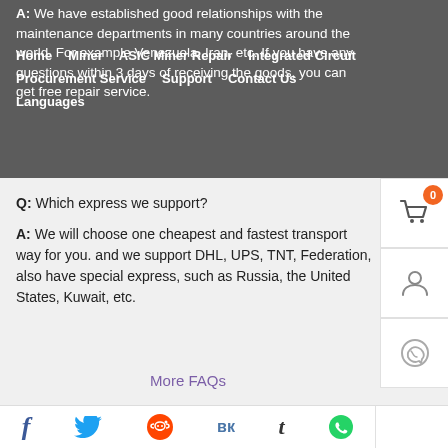A: We have established good relationships with the maintenance departments in many countries around the world. For example Venezuela, Iran, etc. If you have any questions within 3 days of receiving the goods, you can get free repair service.
Home   Miner   ASIC Miner Repair   Integrated Circuit   Procurement Service   Support   Contact Us   Languages
Q: Which express we support?
A: We will choose one cheapest and fastest transport way for you. and we support DHL, UPS, TNT, Federation, also have special express, such as Russia, the United States, Kuwait, etc.
More FAQs
If you have any questions, please leave us a message